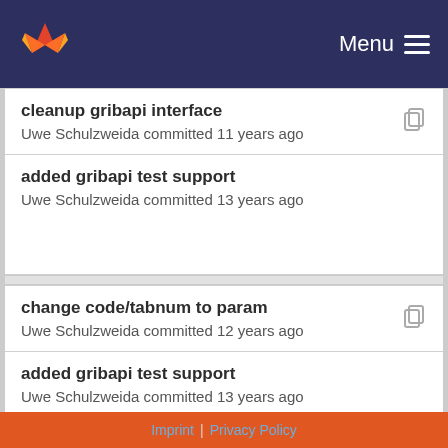Menu
cleanup gribapi interface
Uwe Schulzweida committed 11 years ago
added gribapi test support
Uwe Schulzweida committed 13 years ago
change code/tabnum to param
Uwe Schulzweida committed 12 years ago
added gribapi test support
Uwe Schulzweida committed 13 years ago
Imprint | Privacy Policy